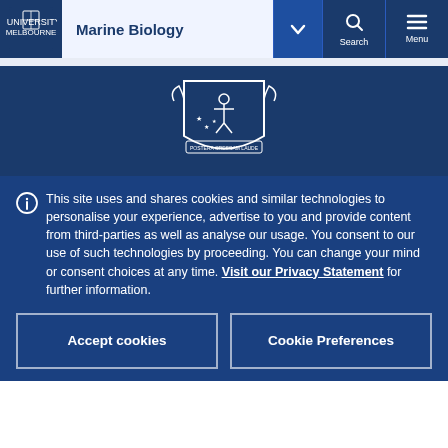University of Melbourne — Marine Biology navigation bar
[Figure (screenshot): University of Melbourne crest/coat of arms in white on dark blue background]
This site uses and shares cookies and similar technologies to personalise your experience, advertise to you and provide content from third-parties as well as analyse our usage. You consent to our use of such technologies by proceeding. You can change your mind or consent choices at any time. Visit our Privacy Statement for further information.
Accept cookies
Cookie Preferences